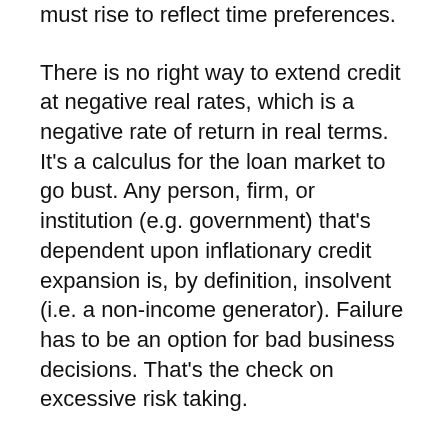must rise to reflect time preferences.
There is no right way to extend credit at negative real rates, which is a negative rate of return in real terms. It’s a calculus for the loan market to go bust. Any person, firm, or institution (e.g. government) that’s dependent upon inflationary credit expansion is, by definition, insolvent (i.e. a non-income generator). Failure has to be an option for bad business decisions. That’s the check on excessive risk taking.
Capital naturally gravitates to lower priced, higher-yield economies. It’s called arbitrage. Artificially low interest rates engenders capital outflow. Capital goes racing overseas. The problem isn’t a dollar shortage, but a